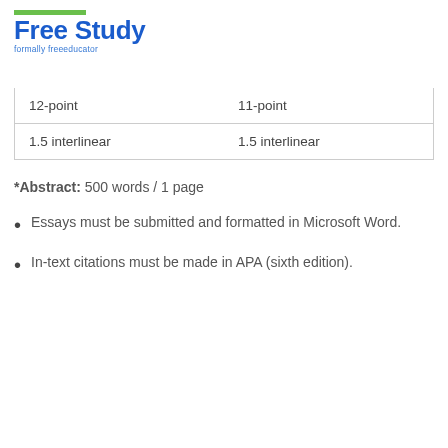Free Study formally freeeducator
| 12-point | 11-point |
| 1.5 interlinear | 1.5 interlinear |
*Abstract: 500 words / 1 page
Essays must be submitted and formatted in Microsoft Word.
In-text citations must be made in APA (sixth edition).